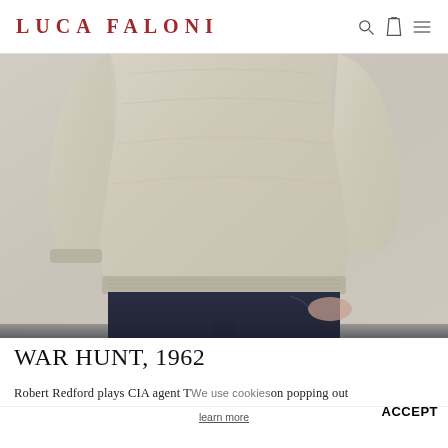LUCA FALONI
[Figure (photo): Fashion photo showing a man's torso wearing a beige/oat cashmere knit sweater and navy trousers with hands in pockets, against a neutral grey-beige background]
WAR HUNT, 1962
Robert Redford plays CIA agent T We use cookies on popping out learn more ACCEPT